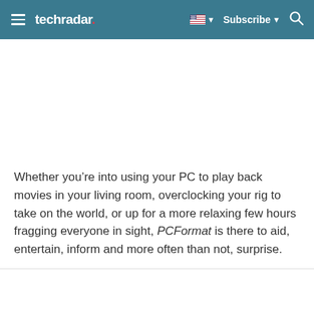techradar | Subscribe
Whether you’re into using your PC to play back movies in your living room, overclocking your rig to take on the world, or up for a more relaxing few hours fragging everyone in sight, PCFormat is there to aid, entertain, inform and more often than not, surprise.